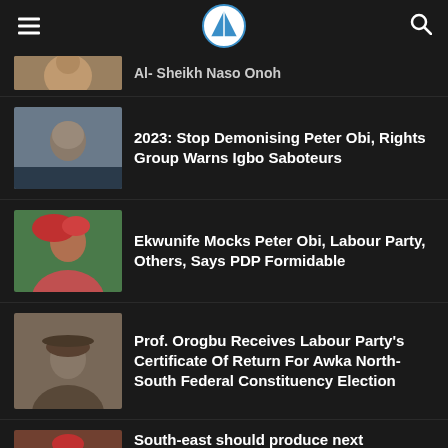T (logo)
[Figure (photo): Partially visible news thumbnail at top]
Al- Sheikh Naso Onoh (partial, cut off)
[Figure (photo): Photo of Peter Obi, a man in dark clothing]
2023: Stop Demonising Peter Obi, Rights Group Warns Igbo Saboteurs
[Figure (photo): Photo of Ekwunife, a woman in red traditional attire]
Ekwunife Mocks Peter Obi, Labour Party, Others, Says PDP Formidable
[Figure (photo): Photo of Prof. Orogbu, a man in a hat]
Prof. Orogbu Receives Labour Party's Certificate Of Return For Awka North-South Federal Constituency Election
[Figure (photo): Photo of Governor Uzodinma, a man in red cap]
South-east should produce next president, but there's no justice – Governor Uzodinma